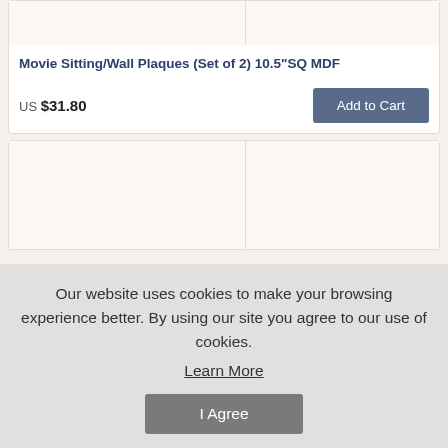Movie Sitting/Wall Plaques (Set of 2) 10.5"SQ MDF
US $31.80
Add to Cart
Our website uses cookies to make your browsing experience better. By using our site you agree to our use of cookies.
Learn More
I Agree